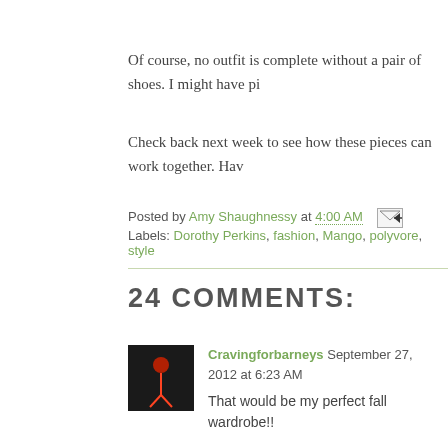Of course, no outfit is complete without a pair of shoes. I might have pi
Check back next week to see how these pieces can work together. Hav
Posted by Amy Shaughnessy at 4:00 AM
Labels: Dorothy Perkins, fashion, Mango, polyvore, style
24 COMMENTS:
Cravingforbarneys September 27, 2012 at 6:23 AM
That would be my perfect fall wardrobe!!

http://cravingforbarneys.com
Reply